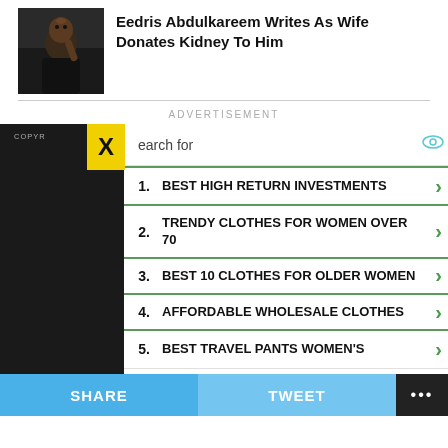[Figure (photo): Photo of a man with finger to lips (silence gesture), wearing dark clothing]
Eedris Abdulkareem Writes As Wife Donates Kidney To Him
ADVERTISEMENT
[Figure (screenshot): Ad popup overlay with yellow X close button and search results list. Items: 1. BEST HIGH RETURN INVESTMENTS, 2. TRENDY CLOTHES FOR WOMEN OVER 70, 3. BEST 10 CLOTHES FOR OLDER WOMEN, 4. AFFORDABLE WHOLESALE CLOTHES, 5. BEST TRAVEL PANTS WOMEN'S. Footer: Ad | Business Focus]
COPY... OF USE
SHARE   TWEET   ...